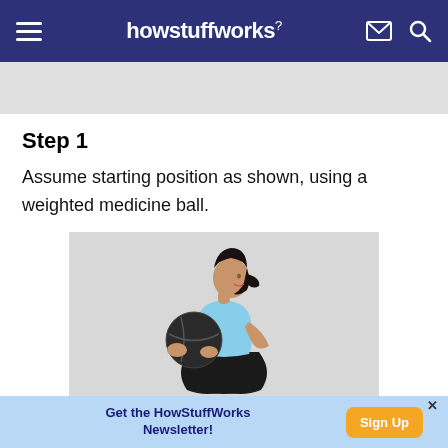howstuffworks
Step 1
Assume starting position as shown, using a weighted medicine ball.
[Figure (photo): Woman in athletic wear in a squat position holding a dark medicine ball up near her face/chest against a light grey background.]
Get the HowStuffWorks Newsletter! Sign Up